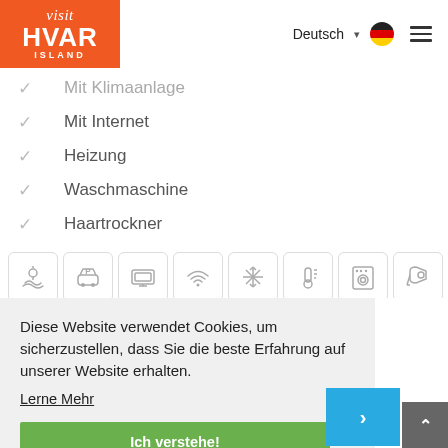[Figure (logo): Visit HVAR ISLAND logo on orange background]
Mit Klimaanlage
Mit Internet
Heizung
Waschmaschine
Haartrockner
[Figure (infographic): Row of 8 amenity icons: sea/sun, parking, TV, WiFi, snowflake/AC, heating, washing machine, hair dryer]
Diese Website verwendet Cookies, um sicherzustellen, dass Sie die beste Erfahrung auf unserer Website erhalten.
Lerne Mehr
Ich verstehe!
Su  Mo  Tu  We  Th  Fr  Sa